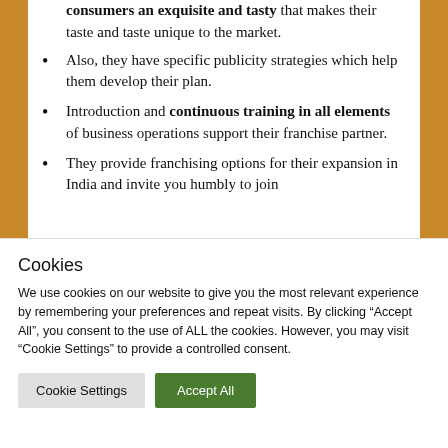They provide their consumers an exquisite and tasty that makes their taste and taste unique to the market.
Also, they have specific publicity strategies which help them develop their plan.
Introduction and continuous training in all elements of business operations support their franchise partner.
They provide franchising options for their expansion in India and invite you humbly to join
Cookies
We use cookies on our website to give you the most relevant experience by remembering your preferences and repeat visits. By clicking “Accept All”, you consent to the use of ALL the cookies. However, you may visit "Cookie Settings" to provide a controlled consent.
Cookie Settings | Accept All